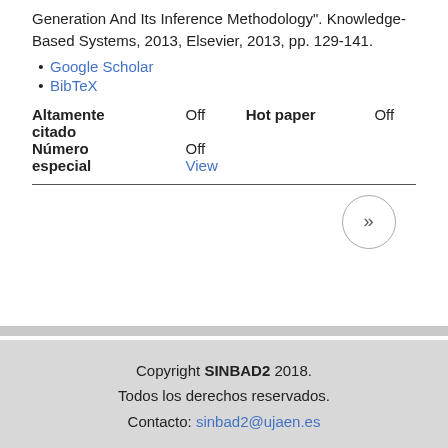Generation And Its Inference Methodology". Knowledge-Based Systems, 2013, Elsevier, 2013, pp. 129-141.
Google Scholar
BibTeX
| Altamente citado | Off | Hot paper | Off |
| Número especial | Off |  |  |
|  | View |  |  |
Copyright SINBAD2 2018.
Todos los derechos reservados.
Contacto: sinbad2@ujaen.es